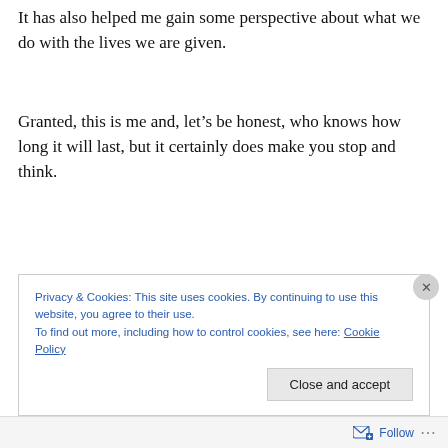It has also helped me gain some perspective about what we do with the lives we are given.
Granted, this is me and, let’s be honest, who knows how long it will last, but it certainly does make you stop and think.
There is also a certain irony as well as an absolute awesomeness about one of my best memories of Grandad
Privacy & Cookies: This site uses cookies. By continuing to use this website, you agree to their use.
To find out more, including how to control cookies, see here: Cookie Policy
Follow ...